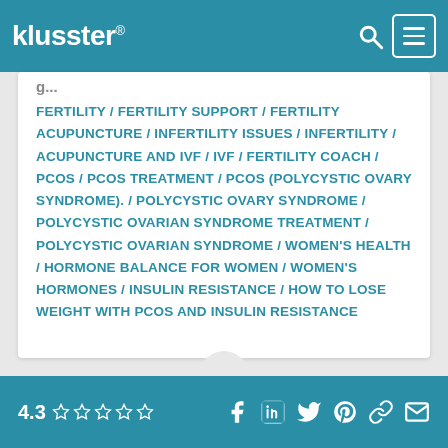klusster
FERTILITY / FERTILITY SUPPORT / FERTILITY ACUPUNCTURE / INFERTILITY ISSUES / INFERTILITY / ACUPUNCTURE AND IVF / IVF / FERTILITY COACH / PCOS / PCOS TREATMENT / PCOS (POLYCYSTIC OVARY SYNDROME). / POLYCYSTIC OVARY SYNDROME / POLYCYSTIC OVARIAN SYNDROME TREATMENT / POLYCYSTIC OVARIAN SYNDROME / WOMEN'S HEALTH / HORMONE BALANCE FOR WOMEN / WOMEN'S HORMONES / INSULIN RESISTANCE / HOW TO LOSE WEIGHT WITH PCOS AND INSULIN RESISTANCE
4.3 ☆☆☆☆☆